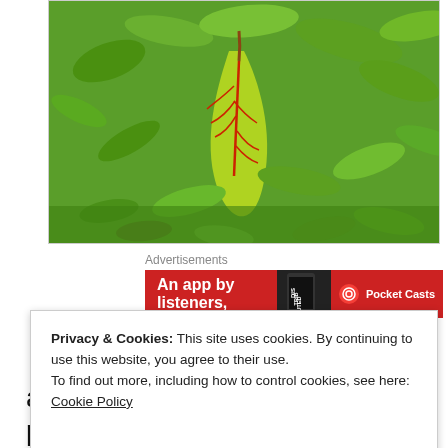[Figure (photo): Close-up photograph of green plants and foliage, featuring a prominent leaf with red veins and yellow-green coloring in the center, surrounded by various green plants and shrubs.]
Advertisements
[Figure (screenshot): Red advertisement banner for Pocket Casts app showing text 'An app by listeners,' with a phone graphic and Pocket Casts logo.]
Privacy & Cookies: This site uses cookies. By continuing to use this website, you agree to their use.
To find out more, including how to control cookies, see here: Cookie Policy
Close and accept
as a supplement to the energy photosynthesis